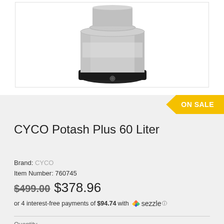[Figure (photo): Product photo of CYCO Potash Plus 60 Liter container — a silver/grey cylindrical canister with black base and a small gauge, shown against a white background inside a bordered box]
CYCO Potash Plus 60 Liter
Brand: CYCO
Item Number: 760745
$499.00  $378.96
or 4 interest-free payments of $94.74 with sezzle ℹ
Quantity